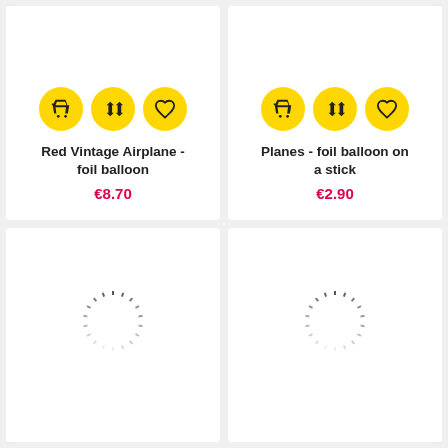[Figure (screenshot): Product card: Red Vintage Airplane - foil balloon with yellow icon buttons and price €8.70]
[Figure (screenshot): Product card: Planes - foil balloon on a stick with yellow icon buttons and price €2.90]
[Figure (screenshot): Product card: loading spinner, no product loaded yet (bottom-left)]
[Figure (screenshot): Product card: loading spinner, no product loaded yet (bottom-right)]